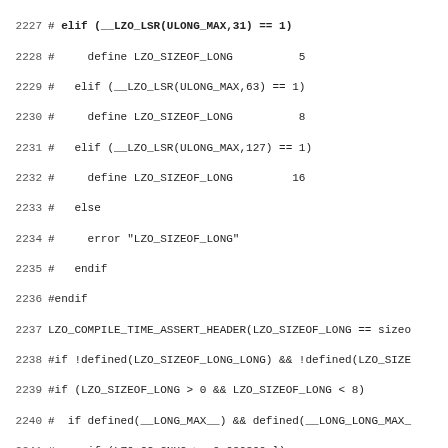Source code listing, lines 2227-2259, showing C preprocessor macros for LZO_SIZEOF_LONG and LZO_SIZEOF_LONG_LONG definitions.